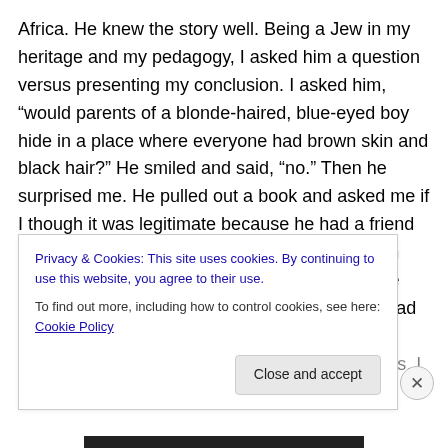Africa. He knew the story well. Being a Jew in my heritage and my pedagogy, I asked him a question versus presenting my conclusion. I asked him, “would parents of a blonde-haired, blue-eyed boy hide in a place where everyone had brown skin and black hair?” He smiled and said, “no.” Then he surprised me. He pulled out a book and asked me if I though it was legitimate because he had a friend that only spoke French who needed this book in French. The title was, “Nouveau Testament.” He knew there were versions floating around that had slight changes to promote the doctrines of certain cults. I
Privacy & Cookies: This site uses cookies. By continuing to use this website, you agree to their use.
To find out more, including how to control cookies, see here: Cookie Policy
Close and accept